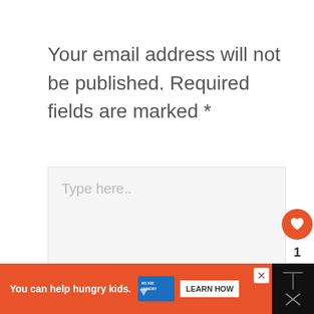Your email address will not be published. Required fields are marked *
[Figure (screenshot): A text area input box with placeholder text 'Type here..', on a light gray background. To the right are a heart/like button (orange circle), a like count of 1, and a share button (white circle with share icon). At the bottom is an orange advertisement bar reading 'You can help hungry kids.' with a No Kid Hungry logo and a 'LEARN HOW' button, plus a close X button, and a black right panel.]